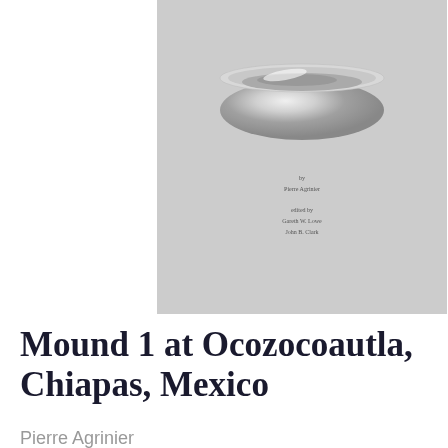[Figure (photo): Book cover showing a silver bowl artifact on gray background with small text credits]
Mound 1 at Ocozocoautla, Chiapas, Mexico
Pierre Agrinier
[Figure (photo): Book cover for 'Middle and Late Preclassic Izapa: Ceramic Complexes and History' from Papers of the New World Archaeological Foundation, showing a ceramic figurine]